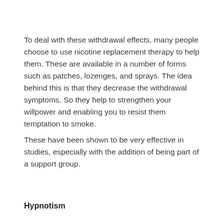To deal with these withdrawal effects, many people choose to use nicotine replacement therapy to help them. These are available in a number of forms such as patches, lozenges, and sprays. The idea behind this is that they decrease the withdrawal symptoms. So they help to strengthen your willpower and enabling you to resist them temptation to smoke.
These have been shown to be very effective in studies, especially with the addition of being part of a support group.
Hypnotism